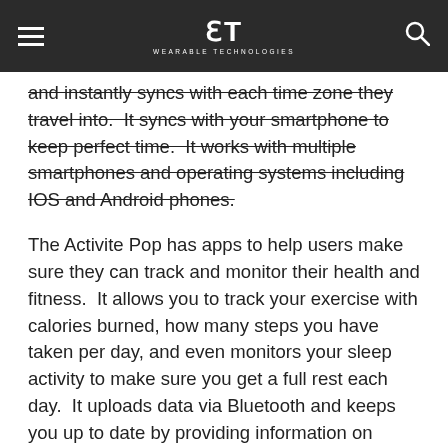WT WEARABLE TECHNOLOGIES
and instantly syncs with each time zone they travel into.  It syncs with your smartphone to keep perfect time.  It works with multiple smartphones and operating systems including IOS and Android phones.
The Activite Pop has apps to help users make sure they can track and monitor their health and fitness.  It allows you to track your exercise with calories burned, how many steps you have taken per day, and even monitors your sleep activity to make sure you get a full rest each day.  It uploads data via Bluetooth and keeps you up to date by providing information on fitness goals and lets users chart their data for day and week.
The Active Pop has a better designed style for users who are looking to wear a fitness wristband while at business or